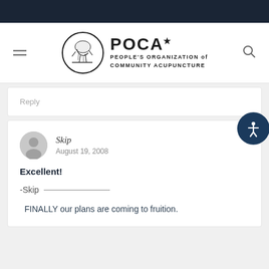[Figure (logo): POCA - People's Organization of Community Acupuncture logo with circular emblem]
Reply
Skip
August 19, 2008
Excellent!

-Skip ——————

  FINALLY our plans are coming to fruition.